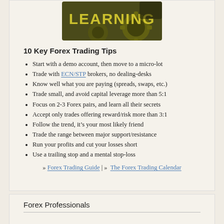[Figure (illustration): A decorative image with the word LEARNING in large yellow/gold text over gears on a dark olive/green background.]
10 Key Forex Trading Tips
Start with a demo account, then move to a micro-lot
Trade with ECN/STP brokers, no dealing-desks
Know well what you are paying (spreads, swaps, etc.)
Trade small, and avoid capital leverage more than 5:1
Focus on 2-3 Forex pairs, and learn all their secrets
Accept only trades offering reward/risk more than 3:1
Follow the trend, it's your most likely friend
Trade the range between major support/resistance
Run your profits and cut your losses short
Use a trailing stop and a mental stop-loss
» Forex Trading Guide | »  The Forex Trading Calendar
Forex Professionals